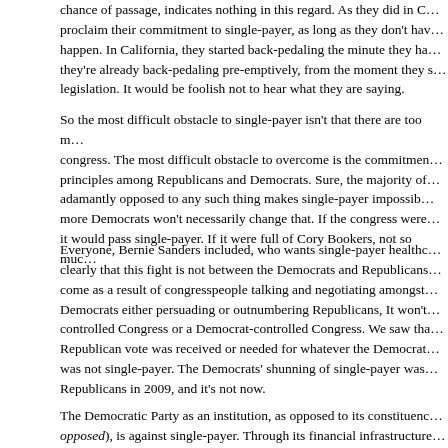The number of Democrats or sponsors of Bernie Sanders's bill, which has no chance of passage, indicates nothing in this regard. As they did in Congress, they can proclaim their commitment to single-payer, as long as they don't have to actually make it happen. In California, they started back-pedaling the minute they had to. In Congress, they're already back-pedaling pre-emptively, from the moment they started filing the legislation. It would be foolish not to hear what they are saying.
So the most difficult obstacle to single-payer isn't that there are too many Republicans in congress. The most difficult obstacle to overcome is the commitment to market principles among Republicans and Democrats. Sure, the majority of Republicans being adamantly opposed to any such thing makes single-payer impossible, but having a few more Democrats won't necessarily change that. If the congress were full of Bernie Sanders, it would pass single-payer. If it were full of Cory Bookers, not so much.
Everyone, Bernie Sanders included, who wants single-payer healthcare, must understand clearly that this fight is not between the Democrats and Republicans. Single-payer won't come as a result of congresspeople talking and negotiating amongst themselves, or of Democrats either persuading or outnumbering Republicans, It won't come from a Republican-controlled Congress or a Democrat-controlled Congress. We saw that in 2009, when no Republican vote was received or needed for whatever the Democrats passed, and what they passed was not single-payer. The Democrats' shunning of single-payer was not because of the Republicans in 2009, and it's not now.
The Democratic Party as an institution, as opposed to its constituency (which is strongly opposed), is against single-payer. Through its financial infrastructure...